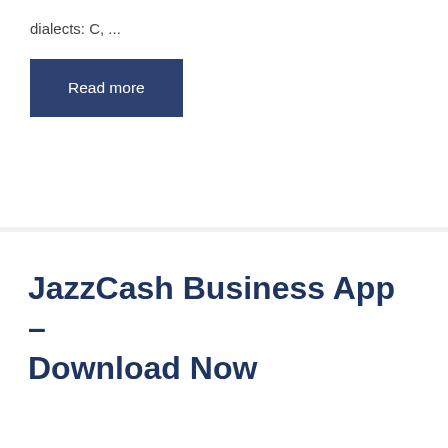dialects: C, ...
Read more
JazzCash Business App – Download Now